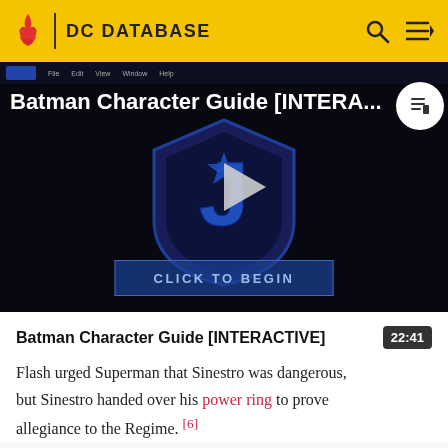DC DATABASE
[Figure (screenshot): Video thumbnail for Batman Character Guide [INTERACTIVE] showing a Justice League shield logo on dark background with a play button and 'CLICK TO BEGIN' button]
Batman Character Guide [INTERACTIVE]
Flash urged Superman that Sinestro was dangerous, but Sinestro handed over his power ring to prove allegiance to the Regime. [6]